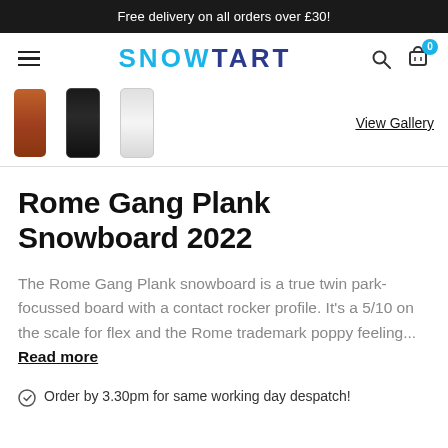Free delivery on all orders over £30!
[Figure (screenshot): Snowtart website navigation with hamburger menu, SNOWTART logo, search icon, and shopping cart with 0 badge]
[Figure (photo): Three snowboard thumbnail images shown as gallery row with View Gallery link]
Rome Gang Plank Snowboard 2022
The Rome Gang Plank snowboard is a true twin park-focussed board with a contact rocker profile. It's a 5/10 on the scale for flex and the Rome trademark poppy feeling... Read more
Order by 3.30pm for same working day despatch!